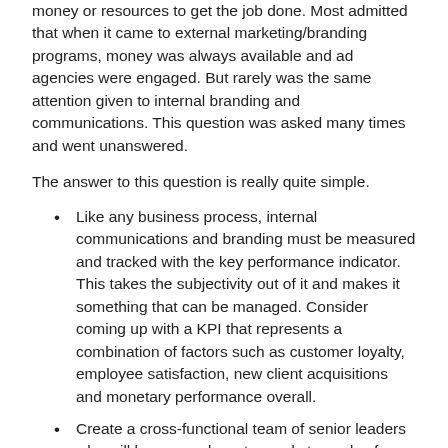money or resources to get the job done. Most admitted that when it came to external marketing/branding programs, money was always available and ad agencies were engaged. But rarely was the same attention given to internal branding and communications. This question was asked many times and went unanswered.
The answer to this question is really quite simple.
Like any business process, internal communications and branding must be measured and tracked with the key performance indicator. This takes the subjectivity out of it and makes it something that can be managed. Consider coming up with a KPI that represents a combination of factors such as customer loyalty, employee satisfaction, new client acquisitions and monetary performance overall.
Create a cross-functional team of senior leaders who will become advocates and stewards of internal communications and branding initiatives. This will give them a say in the company direction and some degree of ownership
Establish a metric of impact and performance in regard to productivity improvement, financial performance/cost savings, and employee clarity of purpose. The more your employees